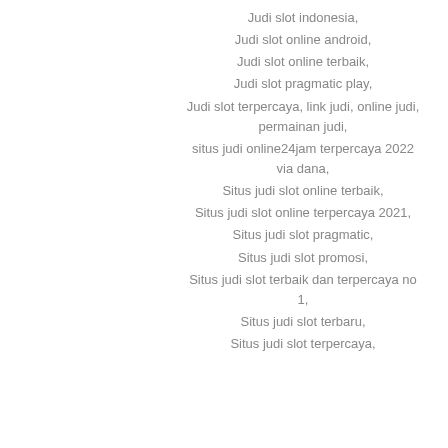Judi slot indonesia,
Judi slot online android,
Judi slot online terbaik,
Judi slot pragmatic play,
Judi slot terpercaya, link judi, online judi, permainan judi,
situs judi online24jam terpercaya 2022 via dana,
Situs judi slot online terbaik,
Situs judi slot online terpercaya 2021,
Situs judi slot pragmatic,
Situs judi slot promosi,
Situs judi slot terbaik dan terpercaya no 1,
Situs judi slot terbaru,
Situs judi slot terpercaya,